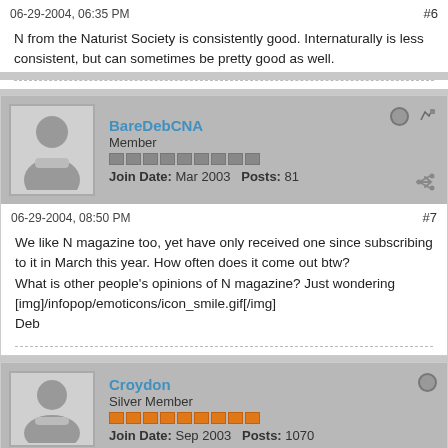06-29-2004, 06:35 PM
#6
N from the Naturist Society is consistently good. Internaturally is less consistent, but can sometimes be pretty good as well.
[Figure (illustration): User avatar placeholder - gray silhouette of a person]
BareDebCNA
Member
Join Date: Mar 2003   Posts: 81
06-29-2004, 08:50 PM
#7
We like N magazine too, yet have only received one since subscribing to it in March this year. How often does it come out btw?
What is other people's opinions of N magazine? Just wondering
[img]/infopop/emoticons/icon_smile.gif[/img]
Deb
[Figure (illustration): User avatar placeholder - gray silhouette of a person]
Croydon
Silver Member
Join Date: Sep 2003   Posts: 1070